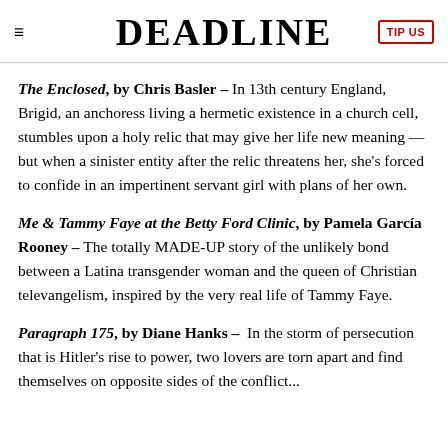DEADLINE
The Enclosed, by Chris Basler – In 13th century England, Brigid, an anchoress living a hermetic existence in a church cell, stumbles upon a holy relic that may give her life new meaning — but when a sinister entity after the relic threatens her, she's forced to confide in an impertinent servant girl with plans of her own.
Me & Tammy Faye at the Betty Ford Clinic, by Pamela García Rooney – The totally MADE-UP story of the unlikely bond between a Latina transgender woman and the queen of Christian televangelism, inspired by the very real life of Tammy Faye.
Paragraph 175, by Diane Hanks – In the storm of persecution that is Hitler's rise to power, two lovers are torn apart and find themselves on opposite sides of the conflict...